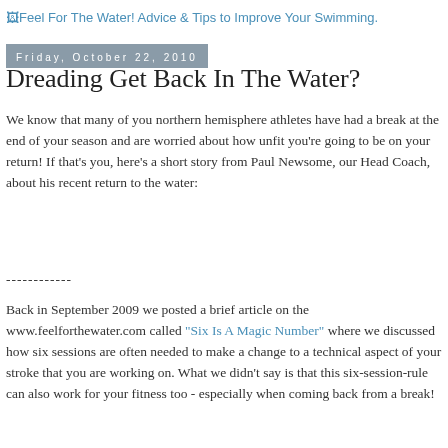Feel For The Water! Advice & Tips to Improve Your Swimming.
Friday, October 22, 2010
Dreading Get Back In The Water?
We know that many of you northern hemisphere athletes have had a break at the end of your season and are worried about how unfit you're going to be on your return! If that's you, here's a short story from Paul Newsome, our Head Coach, about his recent return to the water:
------------
Back in September 2009 we posted a brief article on the www.feelforthewater.com called "Six Is A Magic Number" where we discussed how six sessions are often needed to make a change to a technical aspect of your stroke that you are working on. What we didn't say is that this six-session-rule can also work for your fitness too - especially when coming back from a break!